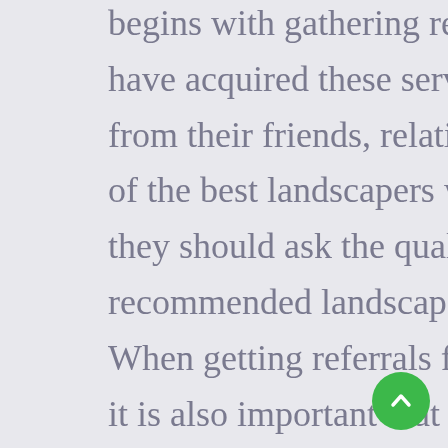begins with gathering recommendations from people who have acquired these services before. Clients should inquire from their friends, relatives and neighbors for references of the best landscapers within their premises. Specifically, they should ask the quality of the services delivered by the recommended landscapers and general client satisfaction. When getting referrals for this group of service providers, it is also important that a client gets the views of professionals including owners of landscape design hardware and electronic suppliers. This is crucial since these group of people are well-established networks with the landscapers. Secondly, the client should make sure that they select an landscape design company that runs a